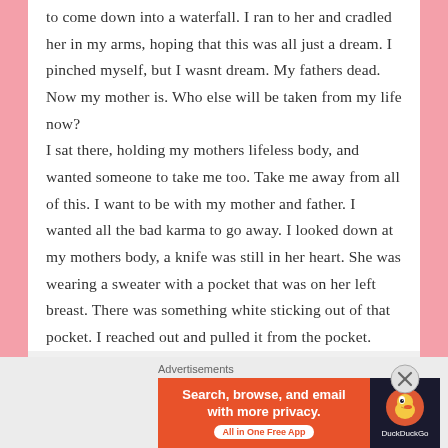to come down into a waterfall. I ran to her and cradled her in my arms, hoping that this was all just a dream. I pinched myself, but I wasnt dream. My fathers dead. Now my mother is. Who else will be taken from my life now? I sat there, holding my mothers lifeless body, and wanted someone to take me too. Take me away from all of this. I want to be with my mother and father. I wanted all the bad karma to go away. I looked down at my mothers body, a knife was still in her heart. She was wearing a sweater with a pocket that was on her left breast. There was something white sticking out of that pocket. I reached out and pulled it from the pocket.
Advertisements
[Figure (infographic): DuckDuckGo advertisement banner. Left orange section: 'Search, browse, and email with more privacy.' with 'All in One Free App' button. Right dark section: DuckDuckGo duck logo and 'DuckDuckGo' text.]